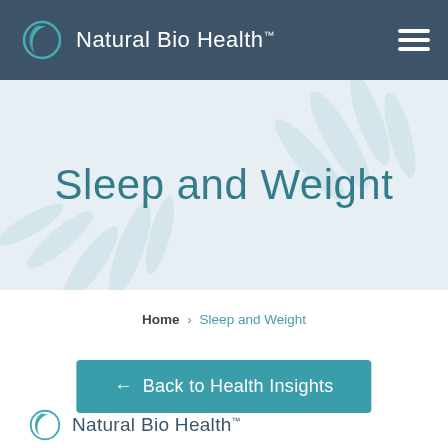Natural Bio Health™
Sleep and Weight
Home › Sleep and Weight
← Back to Health Insights
[Figure (logo): Natural Bio Health logo with teal crescent moon icon and company name]